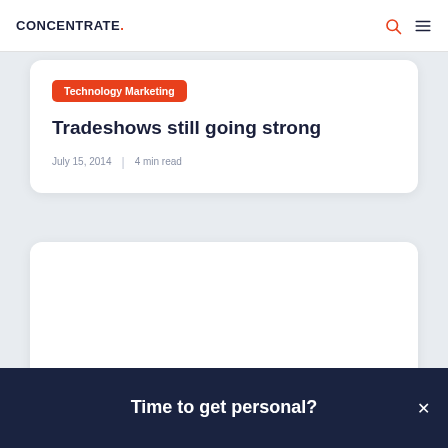CONCENTRATE.
Technology Marketing
Tradeshows still going strong
July 15, 2014 | 4 min read
Time to get personal?